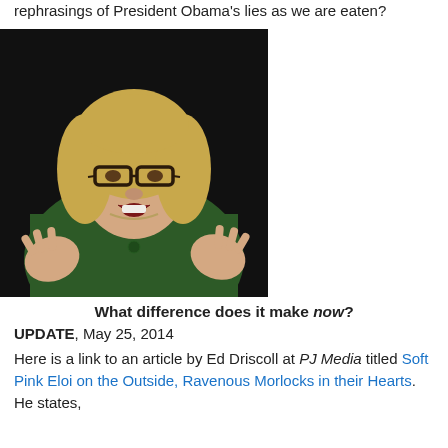rephrasings of President Obama's lies as we are eaten?
[Figure (photo): Photo of Hillary Clinton wearing glasses and a dark green jacket, gesturing with both hands raised, mouth open, appearing to testify or speak publicly. Dark background.]
What difference does it make now?
UPDATE, May 25, 2014
Here is a link to an article by Ed Driscoll at PJ Media titled Soft Pink Eloi on the Outside, Ravenous Morlocks in their Hearts. He states,